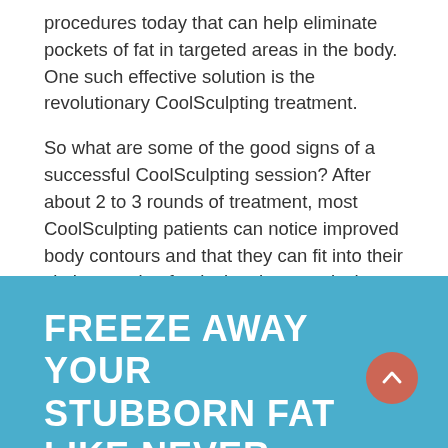procedures today that can help eliminate pockets of fat in targeted areas in the body. One such effective solution is the revolutionary CoolSculpting treatment.
So what are some of the good signs of a successful CoolSculpting session? After about 2 to 3 rounds of treatment, most CoolSculpting patients can notice improved body contours and that they can fit into their clothes again after losing the extra inches from stubborn fat. They can also notice a temporary stick of butter effect and itching sensation which are part of the elimination process of the frozen fat cells.
FREEZE AWAY YOUR STUBBORN FAT LIKE NEVER